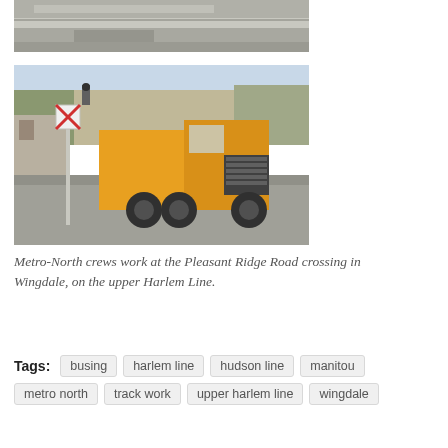[Figure (photo): Partial view of railroad track work construction site with equipment and gravel.]
[Figure (photo): Yellow dump truck at a railroad grade crossing in Wingdale during Metro-North track work on the upper Harlem Line. Railroad crossing sign visible, bare trees and buildings in background.]
Metro-North crews work at the Pleasant Ridge Road crossing in Wingdale, on the upper Harlem Line.
Tags:  busing  harlem line  hudson line  manitou  metro north  track work  upper harlem line  wingdale